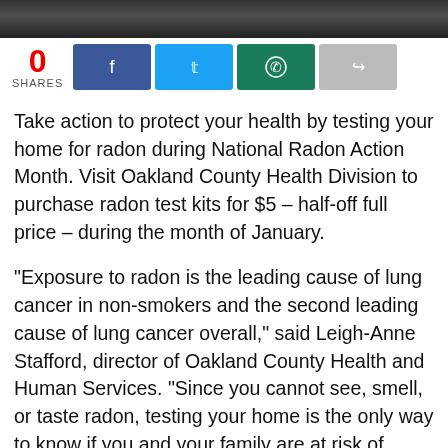[Figure (photo): Partial photo strip at top of page, dark-toned image of person]
0
SHARES
[Figure (infographic): Social share buttons: Facebook (blue), Twitter (light blue), WhatsApp (teal/green), Share (gray)]
Take action to protect your health by testing your home for radon during National Radon Action Month. Visit Oakland County Health Division to purchase radon test kits for $5 – half-off full price – during the month of January.
“Exposure to radon is the leading cause of lung cancer in non-smokers and the second leading cause of lung cancer overall,” said Leigh-Anne Stafford, director of Oakland County Health and Human Services. “Since you cannot see, smell, or taste radon, testing your home is the only way to know if you and your family are at risk of radon exposure.”
The Health Division recommends testing homes for radon gas during the winter months, since windows and doors typically remain closed during cooler temperatures